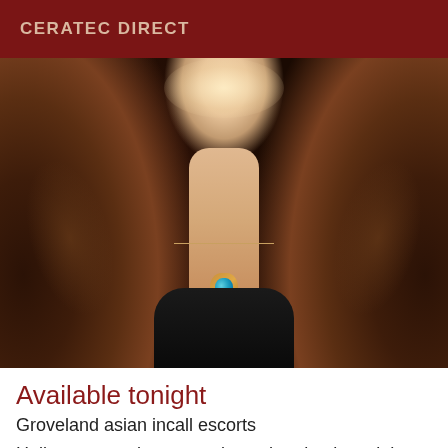CERATEC DIRECT
[Figure (photo): Close-up photo of a woman with long dark wavy hair, wearing a teal teardrop pendant necklace on a thin chain, dressed in a dark top. Face is not visible, cropped above the chin.]
Available tonight
Groveland asian incall escorts
Hello come and meet me in my hotel only tonight Good